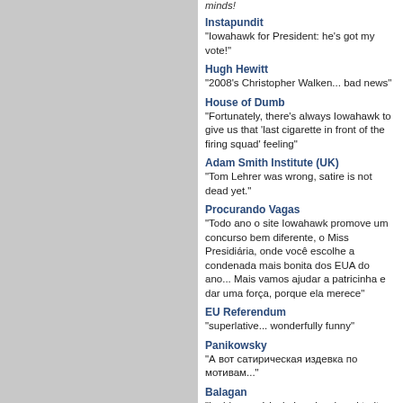minds!
Instapundit
"Iowahawk for President: he's got my vote!"
Hugh Hewitt
"2008's Christopher Walken... bad news"
House of Dumb
"Fortunately, there's always Iowahawk to give us that 'last cigarette in front of the firing squad' feeling"
Adam Smith Institute (UK)
"Tom Lehrer was wrong, satire is not dead yet."
Procurando Vagas
"Todo ano o site Iowahawk promove um concurso bem diferente, o Miss Presidiária, onde você escolhe a condenada mais bonita dos EUA do ano... Mais vamos ajudar a patricinha e dar uma força, porque ela merece"
EU Referendum
"superlative... wonderfully funny"
Panikowsky
"А вот сатирическая издевка по мотивам..."
Balagan
"Le blog américain Iowahawk, qui traite l'actualité par la dérision, a transposé les évènements du Moyen Orient dans le Midwest américain en jouant sur le fait que Mideast veut dire Moyen Orient"
Power Line
"Amazing"
Ox
Tea
Ble
No
wit
a
fre
pac
of
Lad
Tar
filt
in
eve
bo
****
AC
II
–
RID
OV
SIL
CA